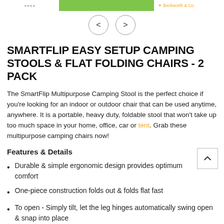[Figure (screenshot): Top navigation bar with logo placeholder on left, green bar in center, and Beckworth & Co. brand text on right]
[Figure (other): Navigation arrows: left (<) and right (>) circle buttons]
SMARTFLIP EASY SETUP CAMPING STOOLS & FLAT FOLDING CHAIRS - 2 PACK
The SmartFlip Multipurpose Camping Stool is the perfect choice if you're looking for an indoor or outdoor chair that can be used anytime, anywhere. It is a portable, heavy duty, foldable stool that won't take up too much space in your home, office, car or tent. Grab these multipurpose camping chairs now!
Features & Details
Durable & simple ergonomic design provides optimum comfort
One-piece construction folds out & folds flat fast
To open - Simply tilt, let the leg hinges automatically swing open & snap into place